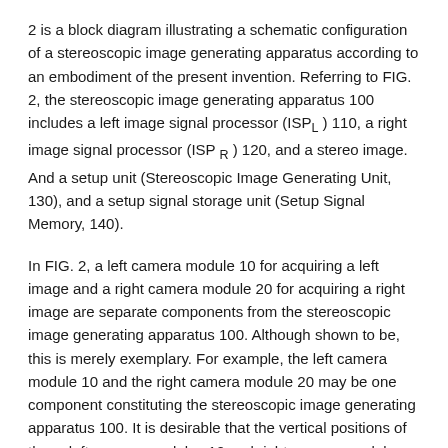2 is a block diagram illustrating a schematic configuration of a stereoscopic image generating apparatus according to an embodiment of the present invention. Referring to FIG. 2, the stereoscopic image generating apparatus 100 includes a left image signal processor (ISP_L) 110, a right image signal processor (ISP_R) 120, and a stereo image. And a setup unit (Stereoscopic Image Generating Unit, 130), and a setup signal storage unit (Setup Signal Memory, 140).
In FIG. 2, a left camera module 10 for acquiring a left image and a right camera module 20 for acquiring a right image are separate components from the stereoscopic image generating apparatus 100. Although shown to be, this is merely exemplary. For example, the left camera module 10 and the right camera module 20 may be one component constituting the stereoscopic image generating apparatus 100. It is desirable that the vertical positions of these left camera modules 10 and right camera modules 20 be as physically aligned as possible. This is because the larger the difference between the vertical positions of the left camera module 10 and the